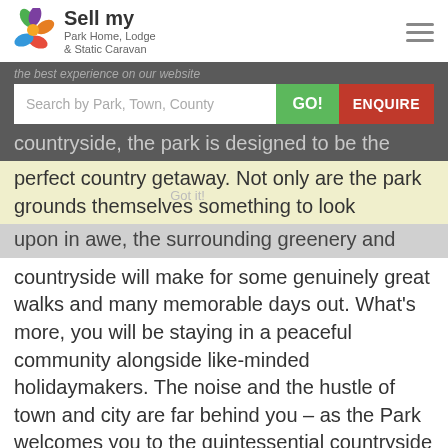Sell my Park Home, Lodge & Static Caravan
the best experience on our website countryside, the park is designed to be the perfect country getaway. Not only are the park grounds themselves something to look upon in awe, the surrounding greenery and countryside will make for some genuinely great walks and many memorable days out. What's more, you will be staying in a peaceful community alongside like-minded holidaymakers. The noise and the hustle of town and city are far behind you – as the Park welcomes you to the quintessential countryside experience.